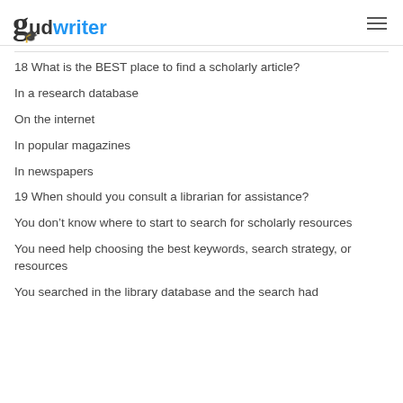gudwriter
18 What is the BEST place to find a scholarly article?
In a research database
On the internet
In popular magazines
In newspapers
19 When should you consult a librarian for assistance?
You don’t know where to start to search for scholarly resources
You need help choosing the best keywords, search strategy, or resources
You searched in the library database and the search had...